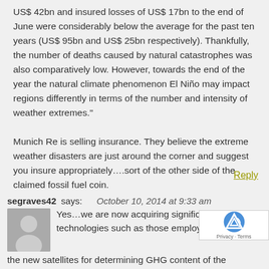US$ 42bn and insured losses of US$ 17bn to the end of June were considerably below the average for the past ten years (US$ 95bn and US$ 25bn respectively). Thankfully, the number of deaths caused by natural catastrophes was also comparatively low. However, towards the end of the year the natural climate phenomenon El Niño may impact regions differently in terms of the number and intensity of weather extremes."
Munich Re is selling insurance. They believe the extreme weather disasters are just around the corner and suggest you insure appropriately….sort of the other side of the claimed fossil fuel coin.
Reply
segraves42 says: October 10, 2014 at 9:33 am
Yes…we are now acquiring significant data technologies such as those employed in som the new satellites for determining GHG content of the